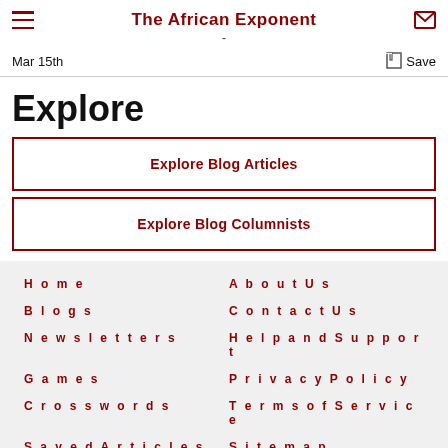The African Exponent
Mar 15th
Explore
Explore Blog Articles
Explore Blog Columnists
Home
About Us
Blogs
Contact Us
Newsletters
Help and Support
Games
Privacy Policy
Crosswords
Terms of Service
Saved Articles
Site map